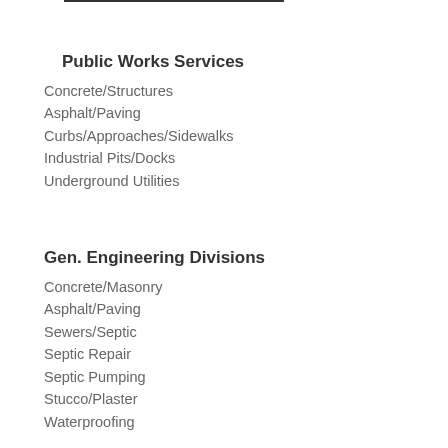Public Works Services
Concrete/Structures
Asphalt/Paving
Curbs/Approaches/Sidewalks
Industrial Pits/Docks
Underground Utilities
Gen. Engineering Divisions
Concrete/Masonry
Asphalt/Paving
Sewers/Septic
Septic Repair
Septic Pumping
Stucco/Plaster
Waterproofing